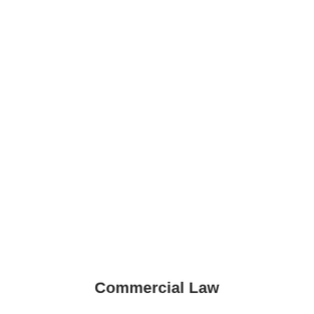[Figure (other): Scroll-to-top button UI element: a gray rounded rectangle with a white upward-pointing chevron arrow, positioned at the right edge of the page.]
Commercial Law